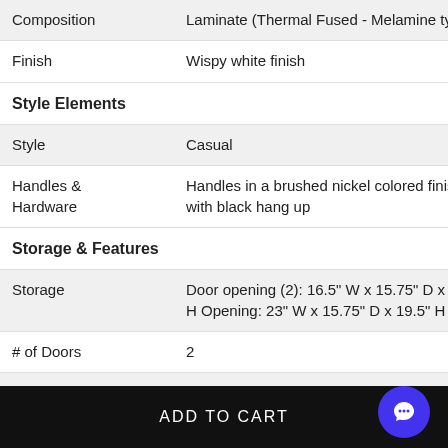| Property | Value |
| --- | --- |
| Composition | Laminate (Thermal Fused - Melamine types) |
| Finish | Wispy white finish |
| Style Elements |  |
| Style | Casual |
| Handles & Hardware | Handles in a brushed nickel colored finish with black hang up |
| Storage & Features |  |
| Storage | Door opening (2): 16.5" W x 15.75" D x 19.5" H Opening: 23" W x 15.75" D x 19.5" H |
| # of Doors | 2 |
| Storage Features | Wire Management |
| Composition & Warranty |  |
ADD TO CART